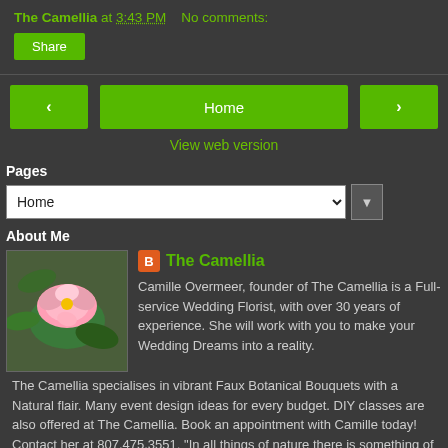The Camellia at 3:43 PM    No comments:
Share
‹   Home   ›
View web version
Pages
Home
About Me
The Camellia
Camille Overmeer, founder of The Camellia is a Full-service Wedding Florist, with over 30 years of experience. She will work with you to make your Wedding Dreams into a reality. The Camellia specialises in vibrant Faux Botanical Bouquets with a Natural flair. Many event design ideas for every budget. DIY classes are also offered at The Camellia. Book an appointment with Camille today! Contact her at 807.475.3551. "In all things of nature there is something of